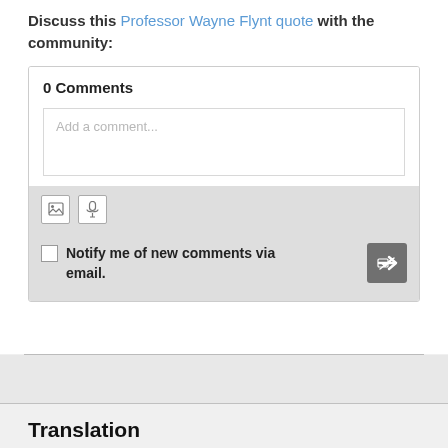Discuss this Professor Wayne Flynt quote with the community:
0 Comments
Add a comment...
Notify me of new comments via email.
Translation
Find a translation for this quote in other languages: